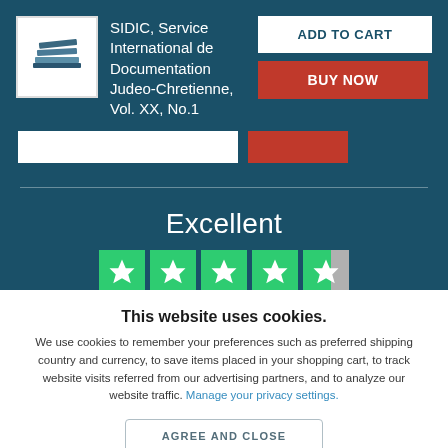SIDIC, Service International de Documentation Judeo-Chretienne, Vol. XX, No.1
[Figure (screenshot): Screenshot of a book listing page with teal background, book cover image, Add to Cart and Buy Now buttons, Excellent rating with 4.5 stars (Trustpilot style), and a cookie consent banner at the bottom]
Excellent
This website uses cookies.
We use cookies to remember your preferences such as preferred shipping country and currency, to save items placed in your shopping cart, to track website visits referred from our advertising partners, and to analyze our website traffic. Manage your privacy settings.
AGREE AND CLOSE